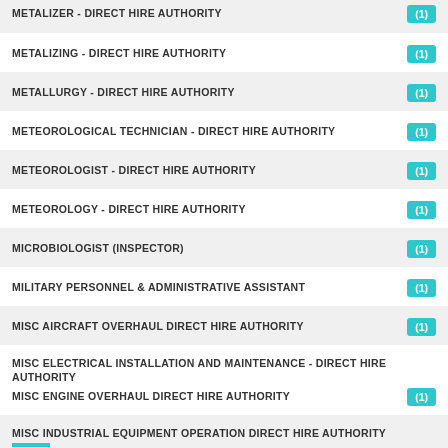METALIZER - DIRECT HIRE AUTHORITY (1)
METALIZING - DIRECT HIRE AUTHORITY (1)
METALLURGY - DIRECT HIRE AUTHORITY (1)
METEOROLOGICAL TECHNICIAN - DIRECT HIRE AUTHORITY (1)
METEOROLOGIST - DIRECT HIRE AUTHORITY (1)
METEOROLOGY - DIRECT HIRE AUTHORITY (1)
MICROBIOLOGIST (INSPECTOR) (1)
MILITARY PERSONNEL & ADMINISTRATIVE ASSISTANT (1)
MISC AIRCRAFT OVERHAUL DIRECT HIRE AUTHORITY (1)
MISC ELECTRICAL INSTALLATION AND MAINTENANCE - DIRECT HIRE AUTHORITY
MISC ENGINE OVERHAUL DIRECT HIRE AUTHORITY (1)
MISC INDUSTRIAL EQUIPMENT OPERATION DIRECT HIRE AUTHORITY
MISC PLIABLE MATERIALS WORK DIRECT HIRE AUTHORITY (1)